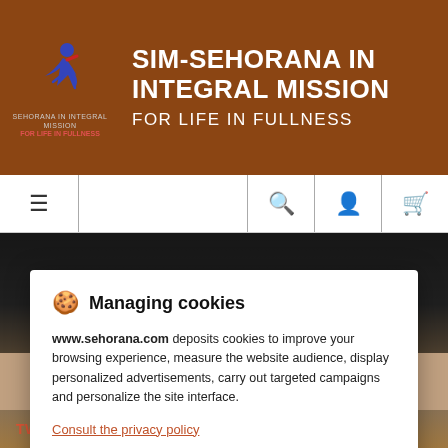SIM-SEHORANA IN INTEGRAL MISSION FOR LIFE IN FULLNESS
[Figure (logo): SIM-Sehorana In Integral Mission logo with running figure icon]
RECENT SERMONS
Managing cookies
www.sehorana.com deposits cookies to improve your browsing experience, measure the website audience, display personalized advertisements, carry out targeted campaigns and personalize the site interface.
Consult the privacy policy
TWIGISHE GUSENGA!